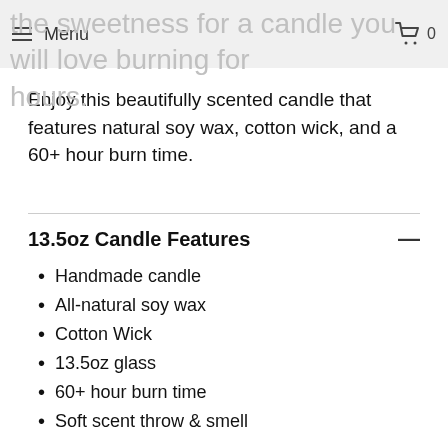the sweetness for a candle you will love burning for hours. Menu 0
Enjoy this beautifully scented candle that features natural soy wax, cotton wick, and a 60+ hour burn time.
13.5oz Candle Features
Handmade candle
All-natural soy wax
Cotton Wick
13.5oz glass
60+ hour burn time
Soft scent throw & smell